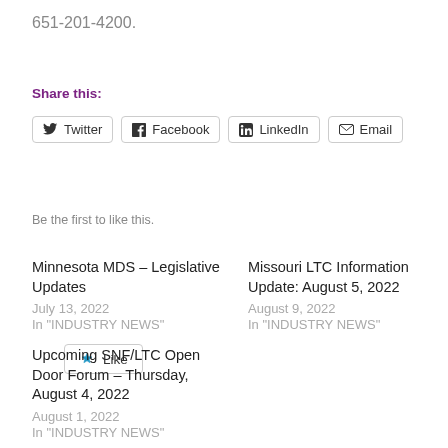651-201-4200.
Share this:
Twitter  Facebook  LinkedIn  Email
Like
Be the first to like this.
Minnesota MDS – Legislative Updates
July 13, 2022
In "INDUSTRY NEWS"
Missouri LTC Information Update: August 5, 2022
August 9, 2022
In "INDUSTRY NEWS"
Upcoming SNF/LTC Open Door Forum – Thursday, August 4, 2022
August 1, 2022
In "INDUSTRY NEWS"